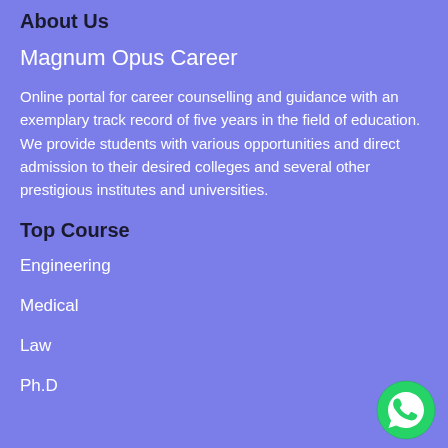About Us
Magnum Opus Career
Online portal for career counselling and guidance with an exemplary track record of five years in the field of education. We provide students with various opportunities and direct admission to their desired colleges and several other prestigious institutes and universities.
Top Course
Engineering
Medical
Law
Ph.D
[Figure (logo): WhatsApp logo — green circle with white phone handset icon]